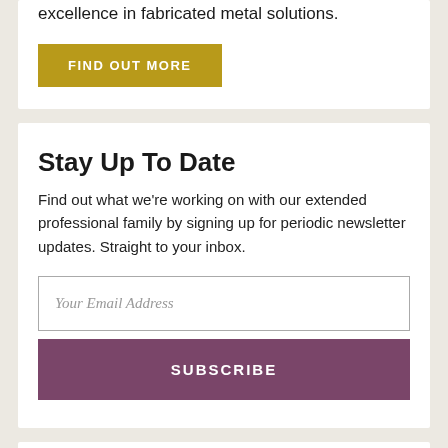excellence in fabricated metal solutions.
FIND OUT MORE
Stay Up To Date
Find out what we're working on with our extended professional family by signing up for periodic newsletter updates. Straight to your inbox.
Your Email Address
SUBSCRIBE
Latest Blog
Metalwork in the 1950s